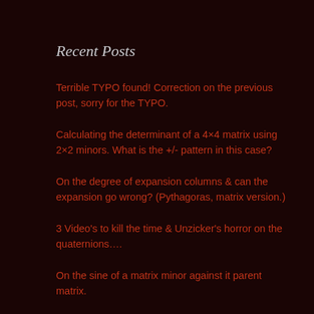Recent Posts
Terrible TYPO found! Correction on the previous post, sorry for the TYPO.
Calculating the determinant of a 4×4 matrix using 2×2 minors. What is the +/- pattern in this case?
On the degree of expansion columns & can the expansion go wrong? (Pythagoras, matrix version.)
3 Video's to kill the time & Unzicker's horror on the quaternions….
On the sine of a matrix minor against it parent matrix.